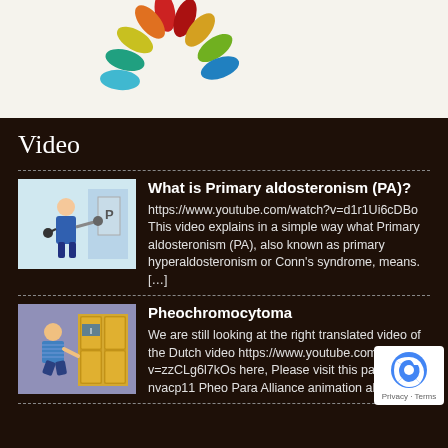[Figure (logo): Colorful petal/leaf logo in red, orange, yellow, green, teal, blue colors on cream background]
Video
[Figure (illustration): Cartoon illustration of a person with a robotic arm next to a panel labeled P]
What is Primary aldosteronism (PA)? https://www.youtube.com/watch?v=d1r1Ui6cDBo This video explains in a simple way what Primary aldosteronism (PA), also known as primary hyperaldosteronism or Conn's syndrome, means. […]
[Figure (illustration): Cartoon illustration of a person kneeling near yellow lockers]
Pheochromocytoma We are still looking at the right translated video of the Dutch video https://www.youtube.com/watch?v=zzCLg6l7kOs here, Please visit this page nvacp11 Pheo Para Alliance animation about […]